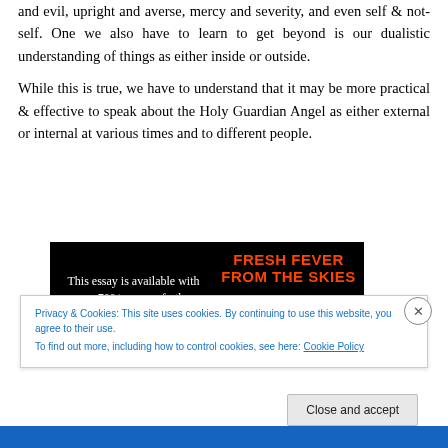and evil, upright and averse, mercy and severity, and even self & not-self. One we also have to learn to get beyond is our dualistic understanding of things as either inside or outside.
While this is true, we have to understand that it may be more practical & effective to speak about the Holy Guardian Angel as either external or internal at various times and to different people.
[Figure (other): Advertisement banner with black background. Left side: white text reading 'This essay is available with over 700+ pages of other material in' with a red underline. Right side: orange bold text 'FRESH FEVER FROM THE SKIES' with a sunburst graphic below.]
Privacy & Cookies: This site uses cookies. By continuing to use this website, you agree to their use.
To find out more, including how to control cookies, see here: Cookie Policy